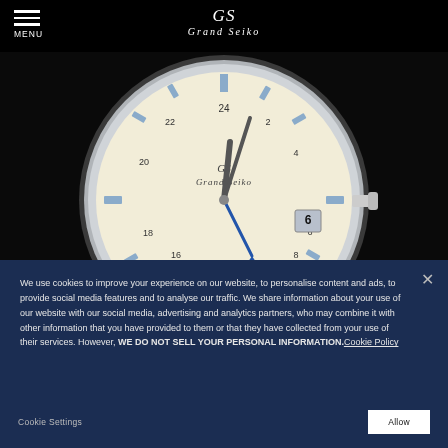MENU | Grand Seiko
[Figure (photo): Grand Seiko luxury automatic watch with cream dial, date window, blue GMT hand, brown leather strap, displayed against a black background. Dial shows 'Grand Seiko' branding and 'AUTOMATIC GMT' text.]
We use cookies to improve your experience on our website, to personalise content and ads, to provide social media features and to analyse our traffic. We share information about your use of our website with our social media, advertising and analytics partners, who may combine it with other information that you have provided to them or that they have collected from your use of their services. However, WE DO NOT SELL YOUR PERSONAL INFORMATION. Cookie Policy